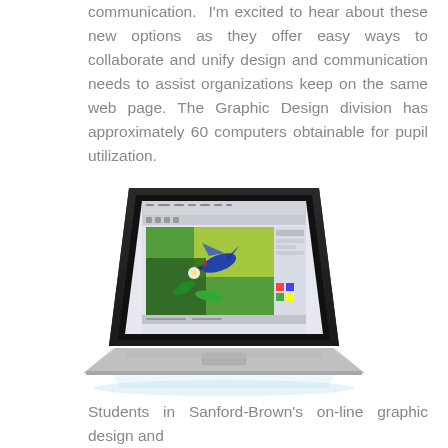communication.  I'm excited to hear about these new options as they offer easy ways to collaborate and unify design and communication needs to assist organizations keep on the same web page. The Graphic Design division has approximately 60 computers obtainable for pupil utilization.
[Figure (photo): A laptop computer (MacBook Pro style) with a graphic design application open on screen, showing a hummingbird image being edited in what appears to be CorelDRAW or similar software.]
Students in Sanford-Brown's on-line graphic design and